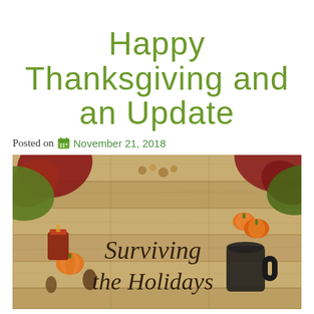Happy Thanksgiving and an Update
Posted on  November 21, 2018
[Figure (photo): Thanksgiving holiday flat lay photo on rustic wooden planks with autumn leaves, small pumpkins, pine cones, candles, and a mug of coffee, with cursive text overlay reading 'Surviving the Holidays']